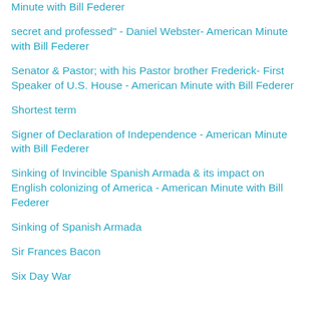Minute with Bill Federer
secret and professed" - Daniel Webster- American Minute with Bill Federer
Senator & Pastor; with his Pastor brother Frederick- First Speaker of U.S. House - American Minute with Bill Federer
Shortest term
Signer of Declaration of Independence - American Minute with Bill Federer
Sinking of Invincible Spanish Armada & its impact on English colonizing of America - American Minute with Bill Federer
Sinking of Spanish Armada
Sir Frances Bacon
Six Day War